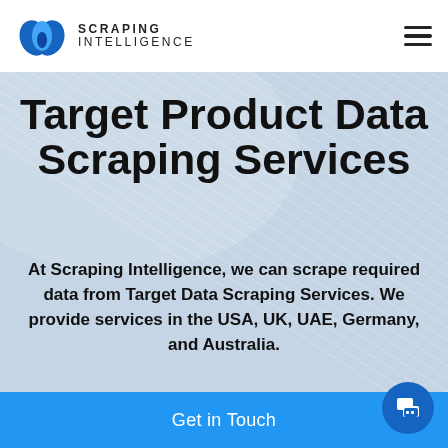SCRAPING INTELLIGENCE
Target Product Data Scraping Services
At Scraping Intelligence, we can scrape required data from Target Data Scraping Services. We provide services in the USA, UK, UAE, Germany, and Australia.
Get in Touch